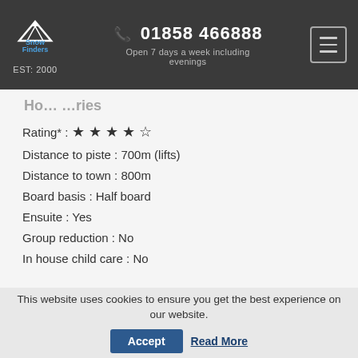SnowFinders EST: 2000 | 01858 466888 | Open 7 days a week including evenings
Rating* : ★★★★☆
Distance to piste : 700m (lifts)
Distance to town : 800m
Board basis : Half board
Ensuite : Yes
Group reduction : No
In house child care : No
This website uses cookies to ensure you get the best experience on our website.
Accept
Read More